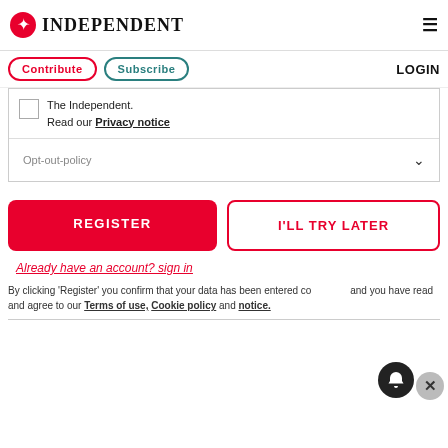INDEPENDENT
Contribute | Subscribe | LOGIN
The Independent.
Read our Privacy notice
Opt-out-policy
REGISTER
I'LL TRY LATER
Already have an account? sign in
By clicking 'Register' you confirm that your data has been entered correctly and you have read and agree to our Terms of use, Cookie policy and notice.